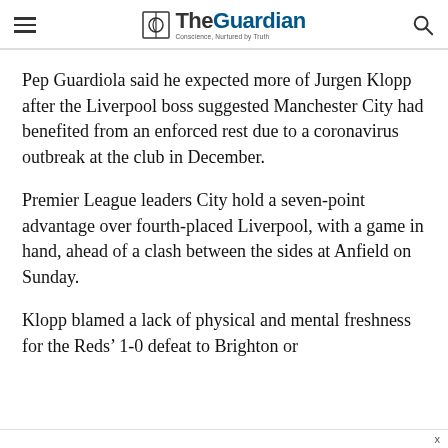The Guardian
Pep Guardiola said he expected more of Jurgen Klopp after the Liverpool boss suggested Manchester City had benefited from an enforced rest due to a coronavirus outbreak at the club in December.
Premier League leaders City hold a seven-point advantage over fourth-placed Liverpool, with a game in hand, ahead of a clash between the sides at Anfield on Sunday.
Klopp blamed a lack of physical and mental freshness for the Reds' 1-0 defeat to Brighton or